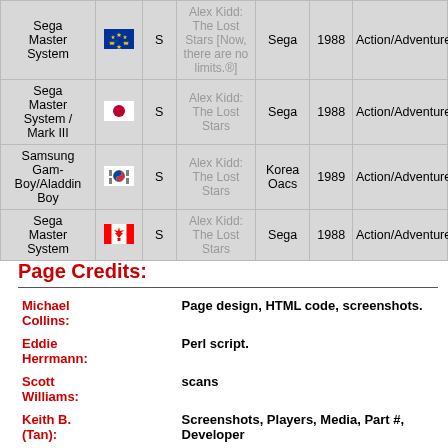| System | Region | Media | Title | Publisher | Year | Genre |
| --- | --- | --- | --- | --- | --- | --- |
| Sega Master System | EU | S | Alex Kidd: The Lost Stars [Now, there are no limits.®] | Sega | 1988 | Action/Adventure |
| Sega Master System / Mark III | JP | S | Alex Kidd: The Lost Stars | Sega | 1988 | Action/Adventure |
| Samsung Gam-Boy/Aladdin Boy | KR | S | Alex Kidd: The Lost Stars | Korea Oacs | 1989 | Action/Adventure |
| Sega Master System | CA | S | Alex Kidd: The Lost Stars | Sega | 1988 | Action/Adventure |
Page Credits:
Michael Collins: Page design, HTML code, screenshots.
Eddie Herrmann: Perl script.
Scott Williams: scans
Keith B. (Tan): Screenshots, Players, Media, Part #, Developer